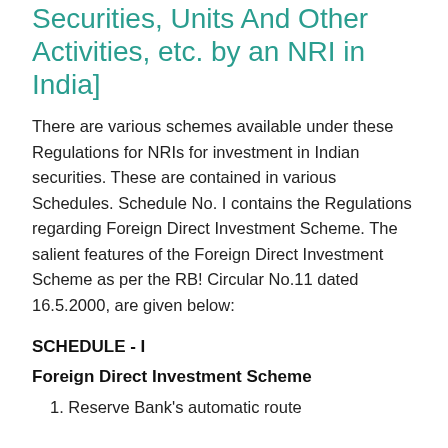Securities, Units And Other Activities, etc. by an NRI in India]
There are various schemes available under these Regulations for NRIs for investment in Indian securities. These are contained in various Schedules. Schedule No. I contains the Regulations regarding Foreign Direct Investment Scheme. The salient features of the Foreign Direct Investment Scheme as per the RB! Circular No.11 dated 16.5.2000, are given below:
SCHEDULE - I
Foreign Direct Investment Scheme
1. Reserve Bank's automatic route